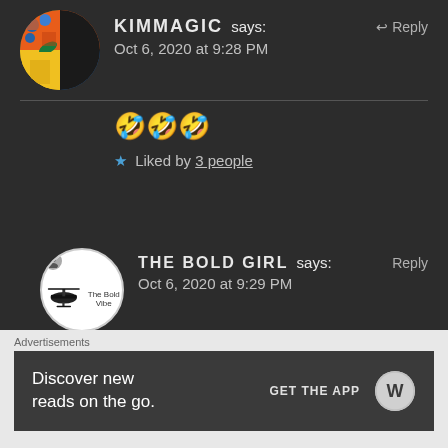KIMMAGIC says: Oct 6, 2020 at 9:28 PM
🤣🤣🤣
★ Liked by 3 people
THE BOLD GIRL says: Oct 6, 2020 at 9:29 PM
Hahha… I look at the background. There are people who judge others and talk
Advertisements
Discover new reads on the go. GET THE APP